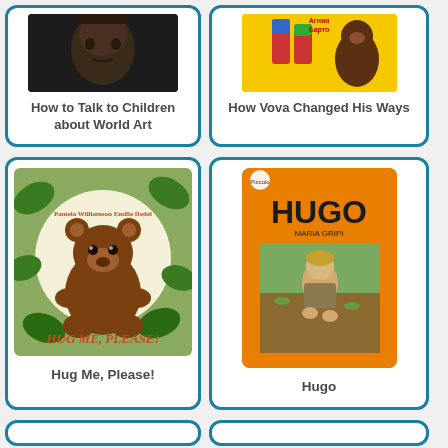[Figure (illustration): Book cover for 'How to Talk to Children about World Art' showing a dark sculptural face]
How to Talk to Children about World Art
[Figure (illustration): Book cover for 'How Vova Changed His Ways' showing colorful illustrated characters on yellow background]
How Vova Changed His Ways
[Figure (illustration): Book cover for 'Hug Me, Please!' showing a brown bear sitting among green leaves]
Hug Me, Please!
[Figure (illustration): Book cover for 'Hugo' by Maria Gripe, orange Piccolo paperback showing a child sitting in a field]
Hugo